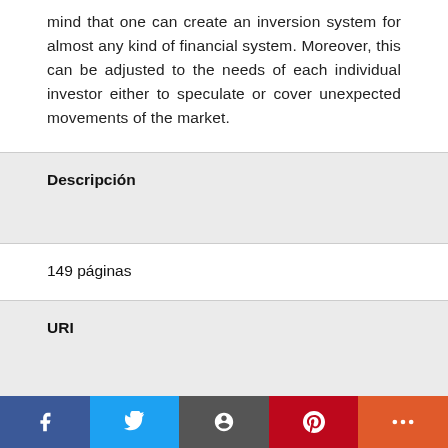mind that one can create an inversion system for almost any kind of financial system. Moreover, this can be adjusted to the needs of each individual investor either to speculate or cover unexpected movements of the market.
Descripción
149 páginas
URI
https://repository.eia.edu.co/handle/11190/4307
Collections